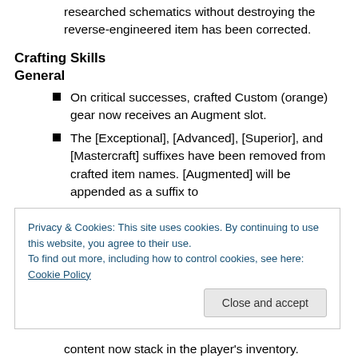researched schematics without destroying the reverse-engineered item has been corrected.
Crafting Skills
General
On critical successes, crafted Custom (orange) gear now receives an Augment slot.
The [Exceptional], [Advanced], [Superior], and [Mastercraft] suffixes have been removed from crafted item names. [Augmented] will be appended as a suffix to
Privacy & Cookies: This site uses cookies. By continuing to use this website, you agree to their use.
To find out more, including how to control cookies, see here: Cookie Policy
content now stack in the player's inventory.